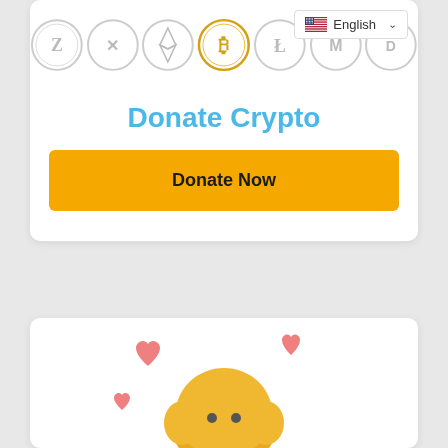[Figure (illustration): Row of cryptocurrency coin icons including Zcash, Ripple, Ethereum, Bitcoin (gold), Litecoin, Monero, and Dash]
[Figure (screenshot): English language selector dropdown with US flag]
Donate Crypto
[Figure (illustration): Yellow donate now button with orange background]
[Figure (illustration): Bottom card showing a cute yellow character with pink hearts around it]